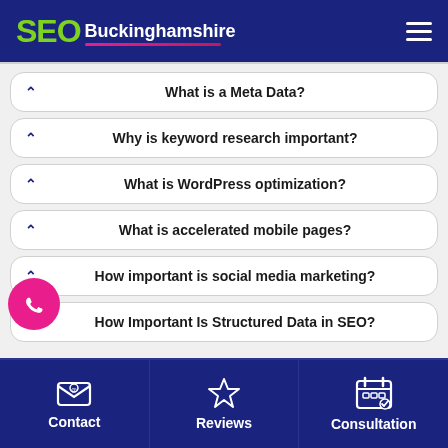SEO Buckinghamshire
What is a Meta Data?
Why is keyword research important?
What is WordPress optimization?
What is accelerated mobile pages?
How important is social media marketing?
How Important Is Structured Data in SEO?
Contact | Reviews | Consultation